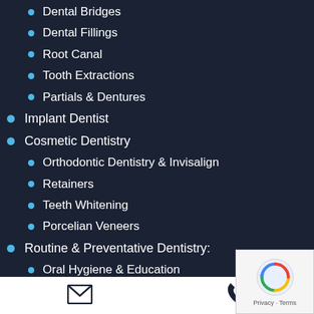Dental Bridges
Dental Fillings
Root Canal
Tooth Extractions
Partials & Dentures
Implant Dentist
Cosmetic Dentistry
Orthodontic Dentistry & Invisalign
Retainers
Teeth Whitening
Porcelian Veneers
Routine & Preventative Dentistry:
Oral Hygiene & Education
What Toothbrush to Use
How to Floss
Email | Phone | Privacy - Terms